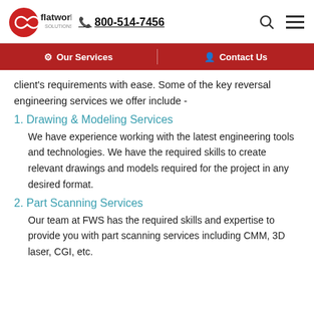flatworld solutions | 800-514-7456
Our Services | Contact Us
client's requirements with ease. Some of the key reversal engineering services we offer include -
1. Drawing & Modeling Services
We have experience working with the latest engineering tools and technologies. We have the required skills to create relevant drawings and models required for the project in any desired format.
2. Part Scanning Services
Our team at FWS has the required skills and expertise to provide you with part scanning services including CMM, 3D laser, CGI, etc.